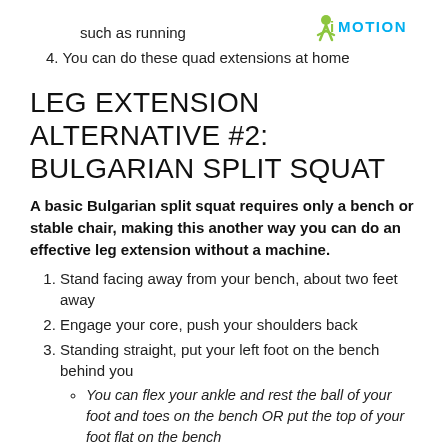such as running
[Figure (logo): iMotion logo with green person icon and blue/green text]
4. You can do these quad extensions at home
LEG EXTENSION ALTERNATIVE #2: BULGARIAN SPLIT SQUAT
A basic Bulgarian split squat requires only a bench or stable chair, making this another way you can do an effective leg extension without a machine.
1. Stand facing away from your bench, about two feet away
2. Engage your core, push your shoulders back
3. Standing straight, put your left foot on the bench behind you
You can flex your ankle and rest the ball of your foot and toes on the bench OR put the top of your foot flat on the bench
This foot is only extended for balance—the